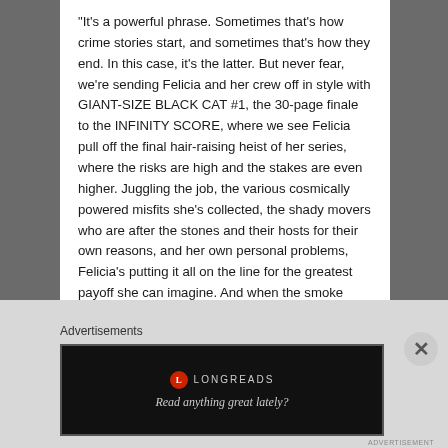“It’s a powerful phrase. Sometimes that’s how crime stories start, and sometimes that’s how they end. In this case, it’s the latter. But never fear, we’re sending Felicia and her crew off in style with GIANT-SIZE BLACK CAT #1, the 30-page finale to the INFINITY SCORE, where we see Felicia pull off the final hair-raising heist of her series, where the risks are high and the stakes are even higher. Juggling the job, the various cosmically powered misfits she’s collected, the shady movers who are after the stones and their hosts for their own reasons, and her own personal problems, Felicia’s putting it all on the line for the greatest payoff she can imagine. And when the smoke clears, will the Black Cat have landed on her feet, or will she land herself in jail– or a grave? Find out in GIANT-SIZE BLACK CAT #1 this November!
Advertisements
[Figure (other): Longreads advertisement banner with black background, red circle logo with 'L', text 'LONGREADS' and tagline 'Read anything great lately?']